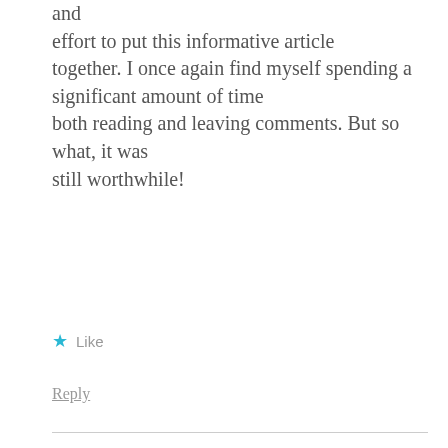and effort to put this informative article together. I once again find myself spending a significant amount of time both reading and leaving comments. But so what, it was still worthwhile!
★ Like
Reply
arbejdskniv
MAY 26, 2015 AT 12:30 PM
Wow! Finally I got a web site from where I be able to truly obtain useful data regarding my study and